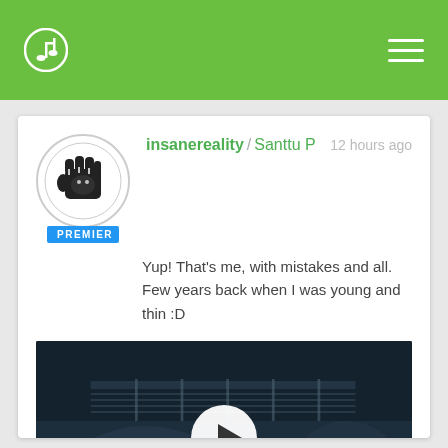insanereality music app navigation bar
insanereality / Santtu P  12 hours ago
Yup! That's me, with mistakes and all. Few years back when I was young and thin :D
[Figure (screenshot): Video thumbnail showing a person playing guitar in dark setting with a white circular play button overlay. Badge label: PREMIER]
[Figure (other): Three partially visible action buttons at bottom of card]